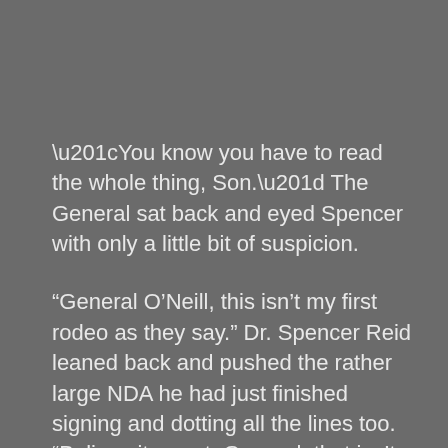“You know you have to read the whole thing, Son.” The General sat back and eyed Spencer with only a little bit of suspicion.
“General O’Neill, this isn’t my first rodeo as they say.” Dr. Spencer Reid leaned back and pushed the rather large NDA he had just finished signing and dotting all the lines too. “Believe it or not, General, that isn’t even the largest NDA I’ve ever had to deal with.”
Spencer saw that the General wanted to ask questions, but decided against it. They were both